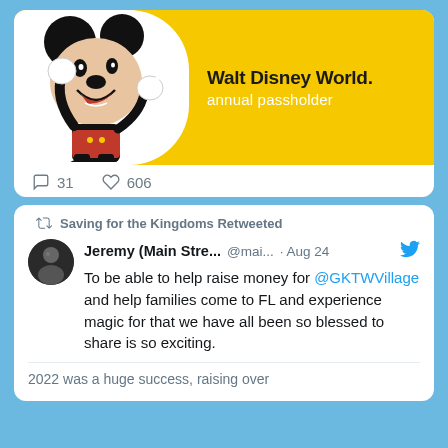[Figure (screenshot): Walt Disney World Annual Passholder banner with Mickey Mouse illustration on yellow background. Mickey is shown in classic pose with white gloves on white rounded-corner panel. Text reads 'Walt Disney World annual passholder'.]
31   606
Saving for the Kingdoms Retweeted
Jeremy (Main Stre... @mai... · Aug 24
To be able to help raise money for @GKTWVillage and help families come to FL and experience magic for that we have all been so blessed to share is so exciting.
2022 was a huge success, raising over